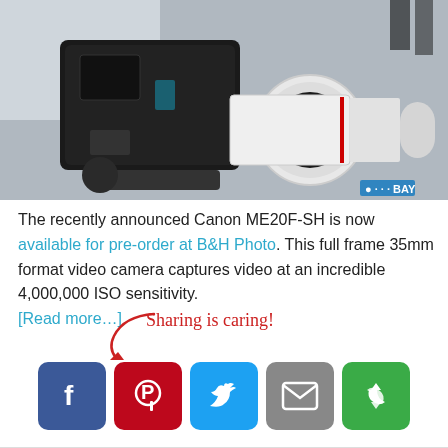[Figure (photo): Canon ME20F-SH camera with a long white telephoto lens mounted on a rig, shown at an event. A watermark reading 'BAY' is visible in the lower right corner.]
The recently announced Canon ME20F-SH is now available for pre-order at B&H Photo. This full frame 35mm format video camera captures video at an incredible 4,000,000 ISO sensitivity. [Read more…]
[Figure (infographic): Sharing is caring! social share buttons for Facebook, Pinterest, Twitter, Email, and a share icon, with a red arrow pointing to them.]